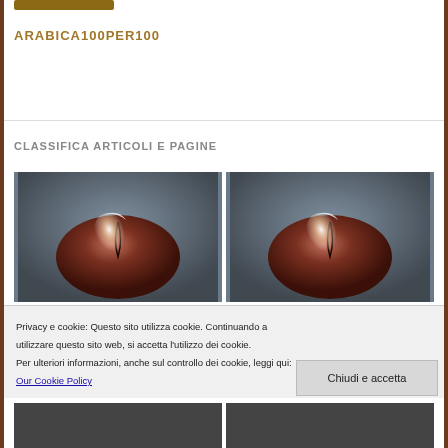ARABICA100PER100
CLASSIFICA ARTICOLI E PAGINE
[Figure (photo): Two side-by-side photos of a coffee bean with light reflection on dark background]
Privacy e cookie: Questo sito utilizza cookie. Continuando a utilizzare questo sito web, si accetta l'utilizzo dei cookie. Per ulteriori informazioni, anche sul controllo dei cookie, leggi qui: Our Cookie Policy
Chiudi e accetta
[Figure (photo): Two partially visible photos at the bottom of the page]